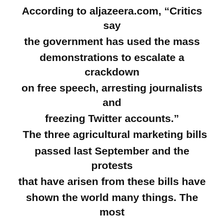According to aljazeera.com, “Critics say the government has used the mass demonstrations to escalate a crackdown on free speech, arresting journalists and freezing Twitter accounts.” The three agricultural marketing bills passed last September and the protests that have arisen from these bills have shown the world many things. The most important being that corruption within governments is extremely dangerous and ultimately puts the lives of everyday citizens at risk. Also, these protests have proven the strength of a democracy and the great determination citizens express when their freedoms are compromised.